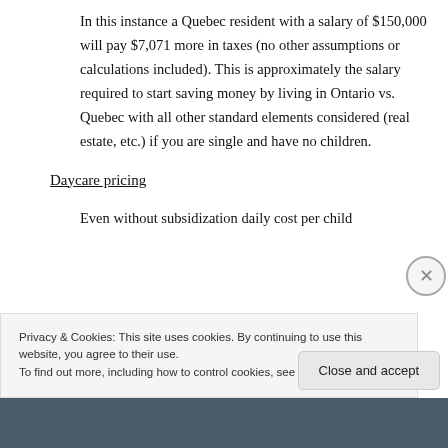In this instance a Quebec resident with a salary of $150,000 will pay $7,071 more in taxes (no other assumptions or calculations included). This is approximately the salary required to start saving money by living in Ontario vs. Quebec with all other standard elements considered (real estate, etc.) if you are single and have no children.
Daycare pricing
Even without subsidization daily cost per child
Privacy & Cookies: This site uses cookies. By continuing to use this website, you agree to their use. To find out more, including how to control cookies, see here: Cookie Policy